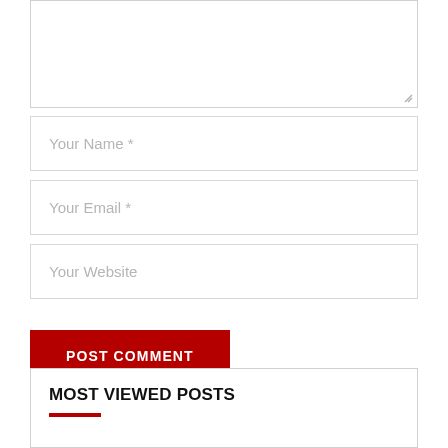[Figure (screenshot): A comment form textarea (top portion, partially visible) with resize handle in bottom-right corner]
Your Name *
Your Email *
Your Website
POST COMMENT
MOST VIEWED POSTS